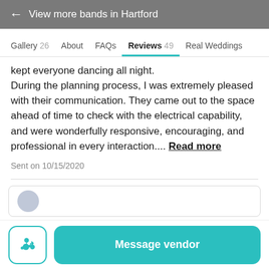← View more bands in Hartford
Gallery 26   About   FAQs   Reviews 49   Real Weddings
kept everyone dancing all night.
During the planning process, I was extremely pleased with their communication. They came out to the space ahead of time to check with the electrical capability, and were wonderfully responsive, encouraging, and professional in every interaction.... Read more
Sent on 10/15/2020
Message vendor